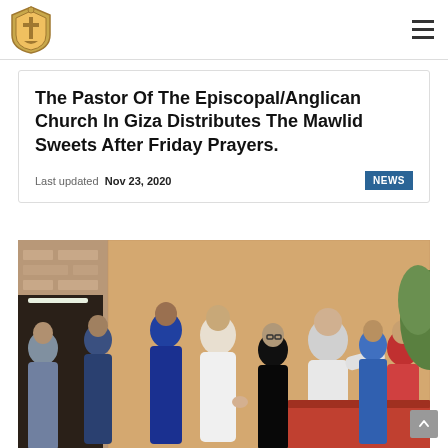[Church logo] [Hamburger menu]
The Pastor Of The Episcopal/Anglican Church In Giza Distributes The Mawlid Sweets After Friday Prayers.
Last updated Nov 23, 2020
NEWS
[Figure (photo): Group of men standing outside a building, appearing to distribute items after prayers]